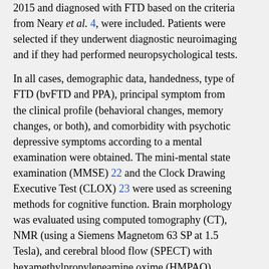2015 and diagnosed with FTD based on the criteria from Neary et al. 4, were included. Patients were selected if they underwent diagnostic neuroimaging and if they had performed neuropsychological tests.
In all cases, demographic data, handedness, type of FTD (bvFTD and PPA), principal symptom from the clinical profile (behavioral changes, memory changes, or both), and comorbidity with psychotic depressive symptoms according to a mental examination were obtained. The mini-mental state examination (MMSE) 22 and the Clock Drawing Executive Test (CLOX) 23 were used as screening methods for cognitive function. Brain morphology was evaluated using computed tomography (CT), NMR (using a Siemens Magnetom 63 SP at 1.5 Tesla), and cerebral blood flow (SPECT) with hexamethylpropyleneamine oxime (HMPAO) (using a GE Infinia gamma camera and a Celerix processing station).
This study was approved and supervised by the Committee of Bioethics of the Psychiatric Hospital Universitario del Valle. In all cases, informed consent was obtained from a relative or legal guardian.
Variables were analyzed with measures of central tendency and of statistical dispersion. In both cases, a 95% confidence interval was used. Tables were created for